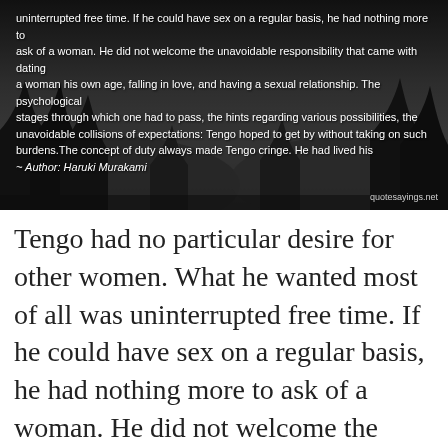[Figure (photo): Dark atmospheric photo of a forest/nature scene with trees silhouetted against a dark sky. Overlaid white text shows a quote about Tengo with attribution to Haruki Murakami. Watermark reads quotesayings.net.]
Tengo had no particular desire for other women. What he wanted most of all was uninterrupted free time. If he could have sex on a regular basis, he had nothing more to ask of a woman. He did not welcome the unavoidable responsibility that came with dating a woman his own age, falling in love, and having a sexual relationship. The psychological stages through which one had to pass, the hints regarding various possibilities, the unavoidable collisions of expectations: Tengo hoped to get by without taking on